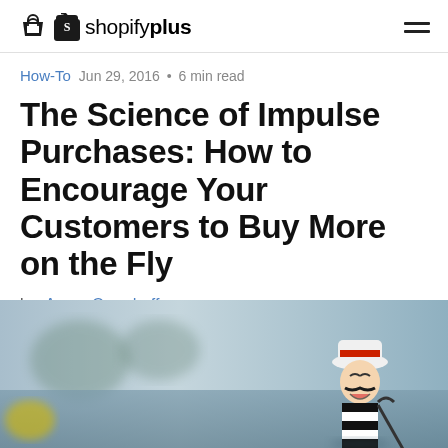shopifyplus
How-To   Jun 29, 2016  •  6 min read
The Science of Impulse Purchases: How to Encourage Your Customers to Buy More on the Fly
by Aaron Orendorff
[Figure (photo): Blurred outdoor photo with a cartoon figurine of a moustachioed man in a white hat and black and white striped shirt holding a cane, positioned in the lower right area of the image.]